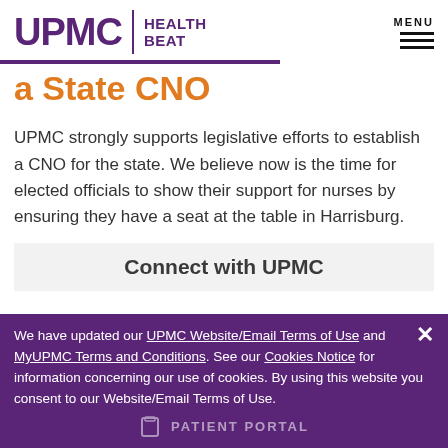UPMC | HEALTH BEAT
a State CNO
UPMC strongly supports legislative efforts to establish a CNO for the state. We believe now is the time for elected officials to show their support for nurses by ensuring they have a seat at the table in Harrisburg.
Connect with UPMC
We have updated our UPMC Website/Email Terms of Use and MyUPMC Terms and Conditions. See our Cookies Notice for information concerning our use of cookies. By using this website you consent to our Website/Email Terms of Use.